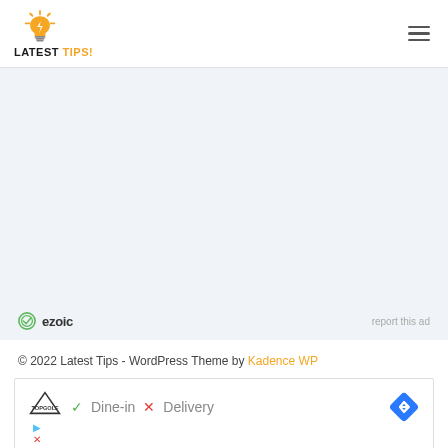[Figure (logo): Latest Tips! website logo with lightbulb icon and text]
[Figure (other): Hamburger menu icon (three horizontal lines)]
[Figure (other): Ezoic ad placeholder area with light blue-gray background, showing ezoic badge and 'report this ad' text]
© 2022 Latest Tips - WordPress Theme by Kadence WP
[Figure (other): Bottom advertisement banner showing Topgolf logo, Dine-in checkmark, Delivery X mark, and blue arrow diamond icon]